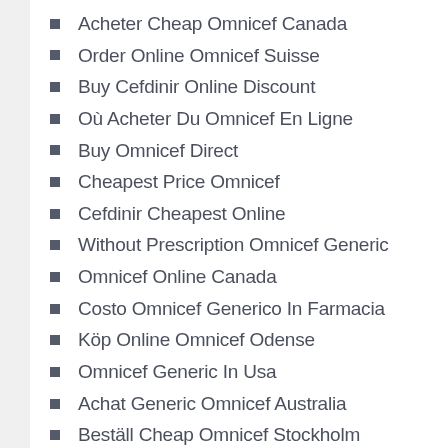Acheter Cheap Omnicef Canada
Order Online Omnicef Suisse
Buy Cefdinir Online Discount
Où Acheter Du Omnicef En Ligne
Buy Omnicef Direct
Cheapest Price Omnicef
Cefdinir Cheapest Online
Without Prescription Omnicef Generic
Omnicef Online Canada
Costo Omnicef Generico In Farmacia
Köp Online Omnicef Odense
Omnicef Generic In Usa
Achat Generic Omnicef Australia
Beställ Cheap Omnicef Stockholm
Billig Cheap Omnicef Belgique
Where To Buy Omnicef Brand Pills Online
Cefdinir Farmacia Costo
Cefdinir Buy Generic
Cheap Omnicef Buy